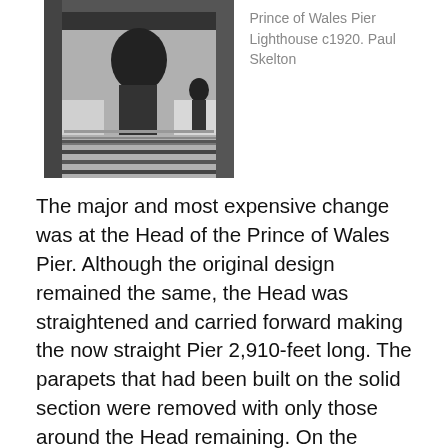[Figure (photo): Black and white photograph of the Prince of Wales Pier Lighthouse circa 1920, showing a figure and reflections on water]
Prince of Wales Pier Lighthouse c1920. Paul Skelton
The major and most expensive change was at the Head of the Prince of Wales Pier. Although the original design remained the same, the Head was straightened and carried forward making the now straight Pier 2,910-feet long. The parapets that had been built on the solid section were removed with only those around the Head remaining. On the Head, approached by a flight of granite steps, was the lighthouse. Built of granite, it was topped with a cylindrical lantern room on which was a metal weather vane. The road and footpaths were to be commensurate